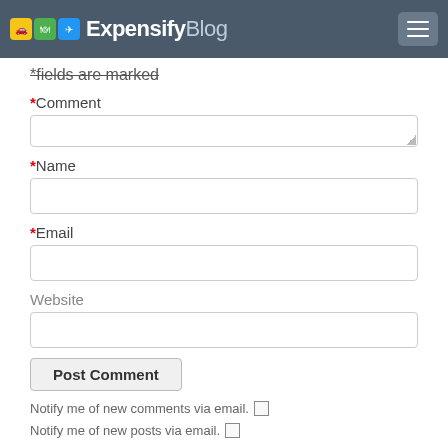Expensify Blog
*fields are marked
*Comment
[Figure (screenshot): Comment text area input field (empty)]
*Name
[Figure (screenshot): Name text input field (empty)]
*Email
[Figure (screenshot): Email text input field (empty)]
Website
[Figure (screenshot): Website text input field (empty)]
Post Comment
Notify me of new comments via email.
Notify me of new posts via email.